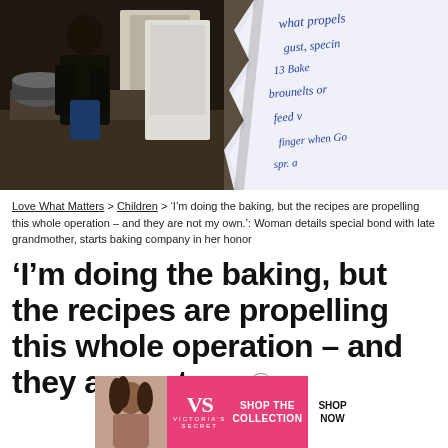[Figure (photo): Left: Woman cooking in a dark kitchen. Right: Handwritten recipe notes on torn paper.]
Love What Matters > Children > ‘I’m doing the baking, but the recipes are propelling this whole operation – and they are not my own.’: Woman details special bond with late grandmother, starts baking company in her honor
‘I’m doing the baking, but the recipes are propelling this whole operation – and they are not my
[Figure (photo): Victoria's Secret advertisement: Shop The Collection - Shop Now]